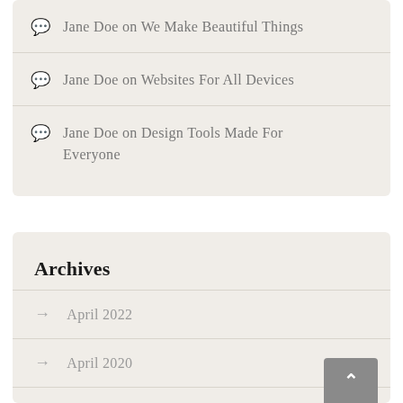Jane Doe on We Make Beautiful Things
Jane Doe on Websites For All Devices
Jane Doe on Design Tools Made For Everyone
Archives
April 2022
April 2020
March 2020